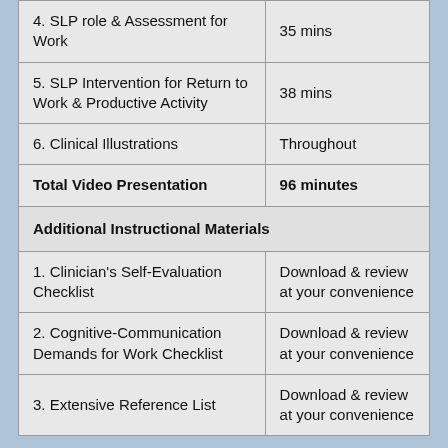| Item | Duration/Details |
| --- | --- |
| 4. SLP role & Assessment for Work | 35 mins |
| 5. SLP Intervention for Return to Work & Productive Activity | 38 mins |
| 6. Clinical Illustrations | Throughout |
| Total Video Presentation | 96 minutes |
| Additional Instructional Materials |  |
| 1. Clinician's Self-Evaluation Checklist | Download & review at your convenience |
| 2. Cognitive-Communication Demands for Work Checklist | Download & review at your convenience |
| 3. Extensive Reference List | Download & review at your convenience |